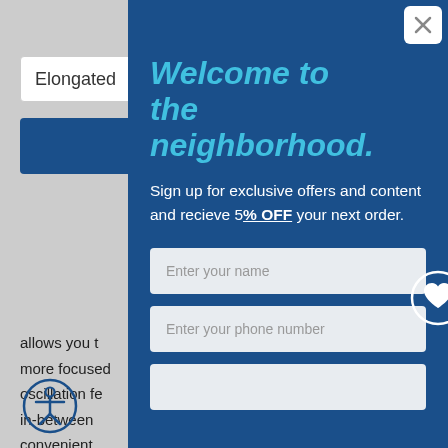Elongated
allows you t more focused oscillation fe in-between convenient tools neede needs, from nightlight, t your bathro
Welcome to the neighborhood.
Sign up for exclusive offers and content and recieve 5% OFF your next order.
Enter your name
Enter your phone number